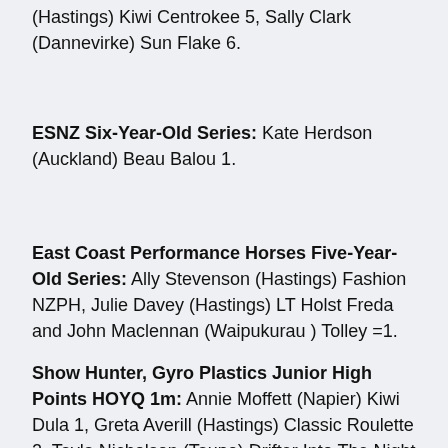(Hastings) Kiwi Centrokee 5, Sally Clark (Dannevirke) Sun Flake 6.
ESNZ Six-Year-Old Series: Kate Herdson (Auckland) Beau Balou 1.
East Coast Performance Horses Five-Year-Old Series: Ally Stevenson (Hastings) Fashion NZPH, Julie Davey (Hastings) LT Holst Freda and John Maclennan (Waipukurau ) Tolley =1.
Show Hunter, Gyro Plastics Junior High Points HOYQ 1m: Annie Moffett (Napier) Kiwi Dula 1, Greta Averill (Hastings) Classic Roulette 2, Tayla Nicholson (Taupo) Drifter Into The Night 3, Molly Pike